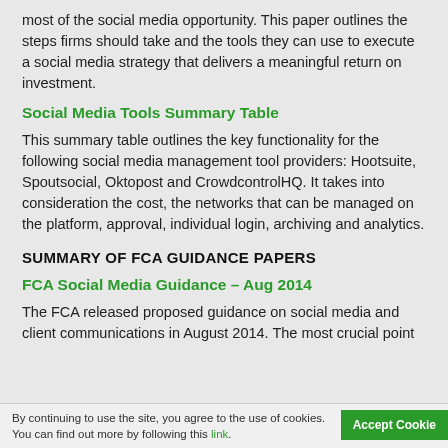most of the social media opportunity. This paper outlines the steps firms should take and the tools they can use to execute a social media strategy that delivers a meaningful return on investment.
Social Media Tools Summary Table
This summary table outlines the key functionality for the following social media management tool providers: Hootsuite, Spoutsocial, Oktopost and CrowdcontrolHQ. It takes into consideration the cost, the networks that can be managed on the platform, approval, individual login, archiving and analytics.
SUMMARY OF FCA GUIDANCE PAPERS
FCA Social Media Guidance – Aug 2014
The FCA released proposed guidance on social media and client communications in August 2014. The most crucial point
By continuing to use the site, you agree to the use of cookies. You can find out more by following this link.